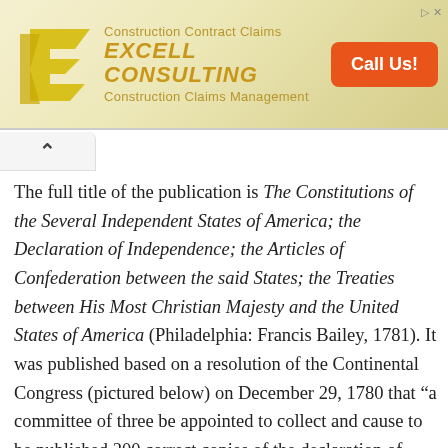[Figure (screenshot): Advertisement banner for Excell Consulting showing a stylized E logo, the text 'Construction Contract Claims', 'EXCELL CONSULTING', 'Construction Claims Management', and an orange 'Call Us!' button.]
The full title of the publication is The Constitutions of the Several Independent States of America; the Declaration of Independence; the Articles of Confederation between the said States; the Treaties between His Most Christian Majesty and the United States of America (Philadelphia: Francis Bailey, 1781). It was published based on a resolution of the Continental Congress (pictured below) on December 29, 1780 that “a committee of three be appointed to collect and cause to be published 200 correct copies of the declaration of independence, the articles of confederation and perpetual union, the alliances between these United States and his Most Christian Majesty, with the constitutions or